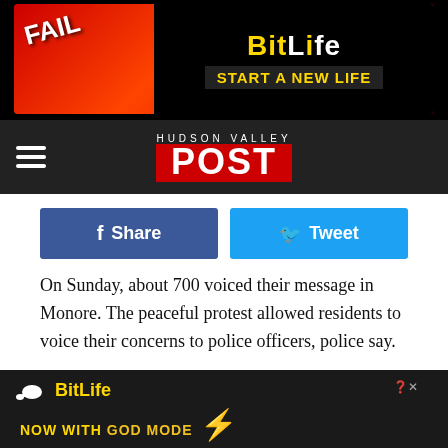[Figure (screenshot): BitLife advertisement banner with FAIL text, cartoon character, red/fire background, and 'START A NEW LIFE' text on black]
HUDSON VALLEY POST
[Figure (screenshot): Facebook Share button (blue) and Twitter Tweet button (light blue) side by side]
On Sunday, about 700 voiced their message in Monore. The peaceful protest allowed residents to voice their concerns to police officers, police say.
"The Monroe Police Department would like to thank the community organizers for their cooperation in accomplishing a peaceful demonstration. Chief Darwin Guzman and other officials had the opportunity to speak with the co[mmunity and listen to their co]ns. Appro[ximately ... messa]ge
[Figure (screenshot): BitLife 'NOW WITH GOD MODE' advertisement banner with sperm logo, lightning bolt, and pointing hand graphic]